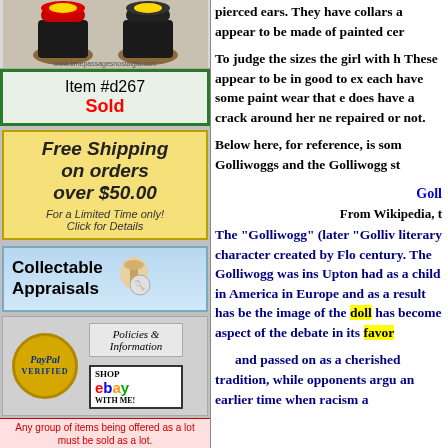[Figure (photo): Top image showing decorative figurine items with collars against a light background, with www.timepassagesnostalgia.com watermark]
Item #d267
Sold
[Figure (infographic): Free Shipping on orders over $50.00 - For a Limited Time only! Click for Details - yellow background banner ad]
[Figure (infographic): Collectable Appraisals banner with spoon image]
[Figure (infographic): PayPal Verified seal, Policies & Information box, Shop eBay with me button]
Any group of items being offered as a lot must be sold as a lot.
pierced ears. They have collars a appear to be made of painted cer
To judge the sizes the girl with h These appear to be in good to ex each have some paint wear that e does have a crack around her ne repaired or not.
Below here, for reference, is som Golliwoggs and the Golliwogg st
Goll
From Wikipedia, t
The "Golliwogg" (later "Golliv literary character created by Flo century. The Golliwogg was ins Upton had as a child in America in Europe and as a result has be the image of the doll has become aspect of the debate in its favor and passed on as a cherished tradition, while opponents argu an earlier time when racism a